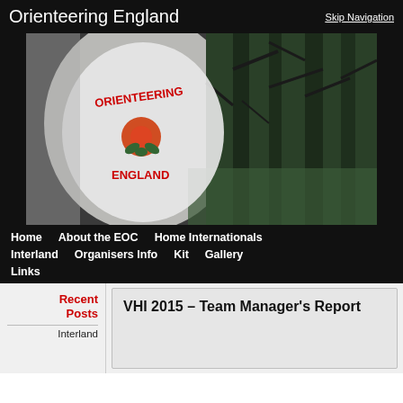Orienteering England
Skip Navigation
[Figure (photo): Orienteering England logo on a flag/banner with a red rose emblem, against a background of misty forest with green trees]
Home   About the EOC   Home Internationals   Interland   Organisers Info   Kit   Gallery   Links
Recent Posts
Interland
VHI 2015 – Team Manager's Report